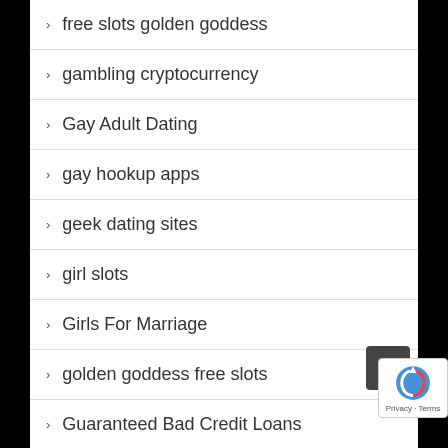free slots golden goddess
gambling cryptocurrency
Gay Adult Dating
gay hookup apps
geek dating sites
girl slots
Girls For Marriage
golden goddess free slots
Guaranteed Bad Credit Loans
Hardship Loans For Bad Credit